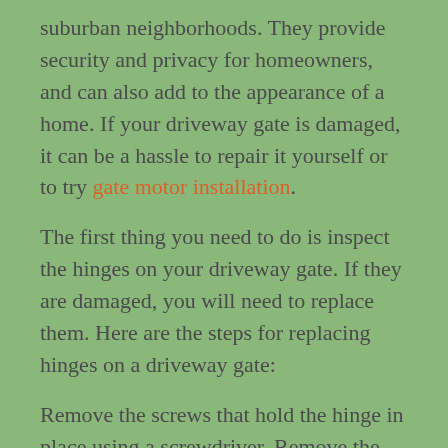suburban neighborhoods. They provide security and privacy for homeowners, and can also add to the appearance of a home. If your driveway gate is damaged, it can be a hassle to repair it yourself or to try gate motor installation.
The first thing you need to do is inspect the hinges on your driveway gate. If they are damaged, you will need to replace them. Here are the steps for replacing hinges on a driveway gate:
Remove the screws that hold the hinge in place using a screwdriver. Remove the old hinge from the gate. Replace the hinge with a new one and secure it in place with screws.